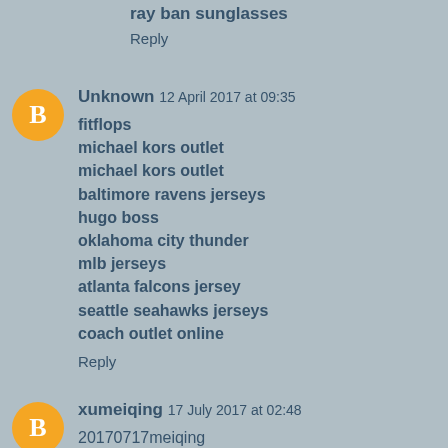ray ban sunglasses
Reply
Unknown 12 April 2017 at 09:35
fitflops
michael kors outlet
michael kors outlet
baltimore ravens jerseys
hugo boss
oklahoma city thunder
mlb jerseys
atlanta falcons jersey
seattle seahawks jerseys
coach outlet online
Reply
xumeiqing 17 July 2017 at 02:48
20170717meiqing
official coach factory outlet